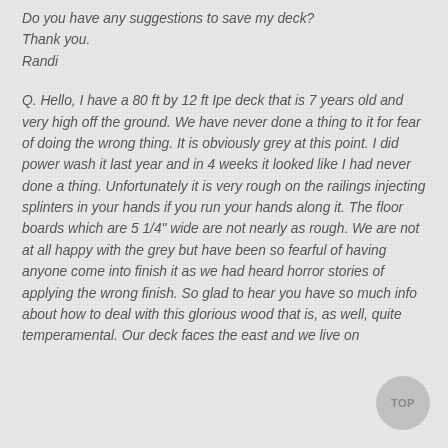Do you have any suggestions to save my deck? Thank you. Randi
Q. Hello, I have a 80 ft by 12 ft Ipe deck that is 7 years old and very high off the ground. We have never done a thing to it for fear of doing the wrong thing. It is obviously grey at this point. I did power wash it last year and in 4 weeks it looked like I had never done a thing. Unfortunately it is very rough on the railings injecting splinters in your hands if you run your hands along it. The floor boards which are 5 1/4" wide are not nearly as rough. We are not at all happy with the grey but have been so fearful of having anyone come into finish it as we had heard horror stories of applying the wrong finish. So glad to hear you have so much info about how to deal with this glorious wood that is, as well, quite temperamental. Our deck faces the east and we live on